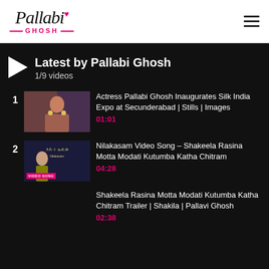Pallabi Ghosh
Latest by Pallabi Ghosh
1/9 videos
1. Actress Pallabi Ghosh Inaugurates Silk India Expo at Secunderabad | Stills | Images
01:01
2. Nilakasam Video Song – Shakeela Rasina Motta Modati Kutumba Katha Chitram
04:28
3. Shakeela Rasina Motta Modati Kutumba Katha Chitram Trailer | Shakila | Pallavi Ghosh
02:38